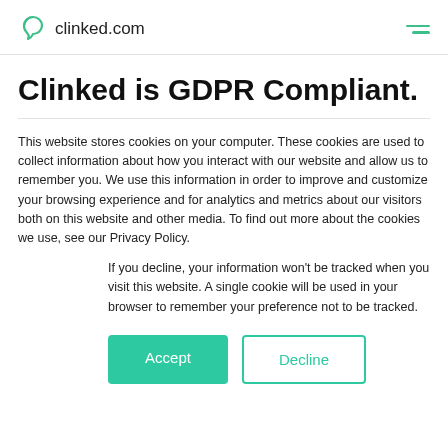clinked.com
Clinked is GDPR Compliant.
This website stores cookies on your computer. These cookies are used to collect information about how you interact with our website and allow us to remember you. We use this information in order to improve and customize your browsing experience and for analytics and metrics about our visitors both on this website and other media. To find out more about the cookies we use, see our Privacy Policy.
If you decline, your information won't be tracked when you visit this website. A single cookie will be used in your browser to remember your preference not to be tracked.